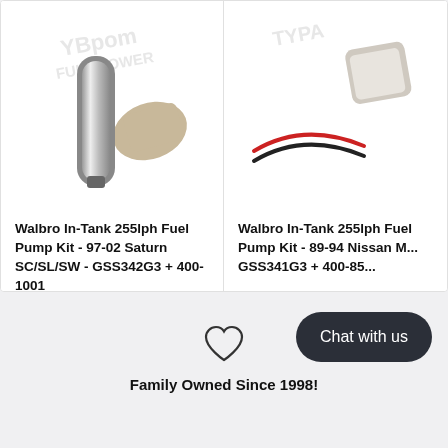[Figure (photo): Walbro in-tank fuel pump kit product photo showing a cylindrical metal pump and mounting bracket]
Walbro In-Tank 255lph Fuel Pump Kit - 97-02 Saturn SC/SL/SW - GSS342G3 + 400-1001
$98.79
or 4 interest-free payments of $24.70 with Sezzle
[Figure (photo): Walbro in-tank fuel pump kit product photo showing pump with wiring]
Walbro In-Tank 255lph Fuel Pump Kit - 89-94 Nissan M... GSS341G3 + 400-85...
$121.97
or 4 interest-free payments of $30.49 with Sezzle
[Figure (illustration): Heart/wishlist icon]
Family Owned Since 1998!
Chat with us